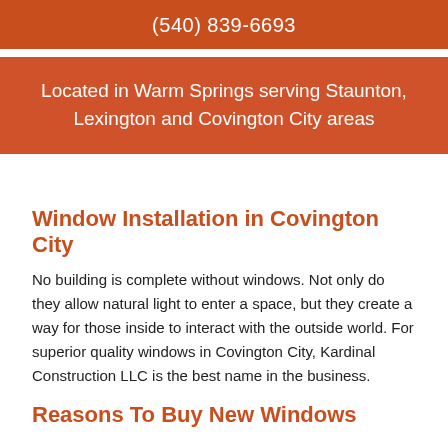(540) 839-6693
Located in Warm Springs serving Staunton, Lexington and Covington City areas
Window Installation in Covington City
No building is complete without windows. Not only do they allow natural light to enter a space, but they create a way for those inside to interact with the outside world. For superior quality windows in Covington City, Kardinal Construction LLC is the best name in the business.
Reasons To Buy New Windows